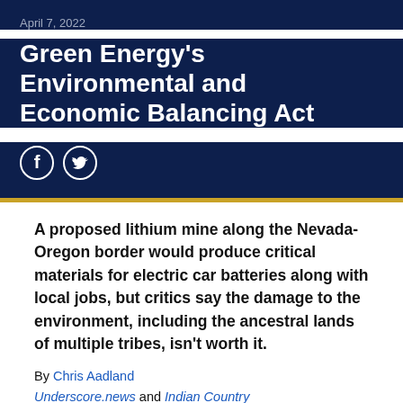April 7, 2022
Green Energy's Environmental and Economic Balancing Act
[Figure (other): Social media share icons: Facebook and Twitter circle icons]
A proposed lithium mine along the Nevada-Oregon border would produce critical materials for electric car batteries along with local jobs, but critics say the damage to the environment, including the ancestral lands of multiple tribes, isn't worth it.
By Chris Aadland
Underscore.news and Indian Country Today